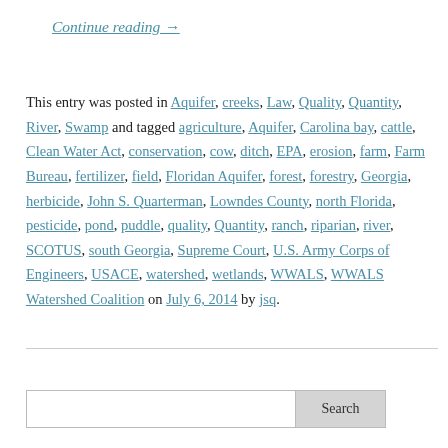Continue reading →
This entry was posted in Aquifer, creeks, Law, Quality, Quantity, River, Swamp and tagged agriculture, Aquifer, Carolina bay, cattle, Clean Water Act, conservation, cow, ditch, EPA, erosion, farm, Farm Bureau, fertilizer, field, Floridan Aquifer, forest, forestry, Georgia, herbicide, John S. Quarterman, Lowndes County, north Florida, pesticide, pond, puddle, quality, Quantity, ranch, riparian, river, SCOTUS, south Georgia, Supreme Court, U.S. Army Corps of Engineers, USACE, watershed, wetlands, WWALS, WWALS Watershed Coalition on July 6, 2014 by jsq.